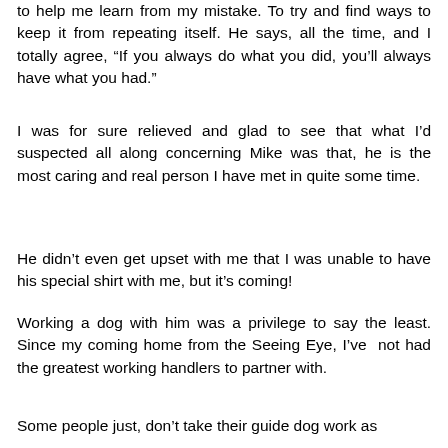to help me learn from my mistake. To try and find ways to keep it from repeating itself. He says, all the time, and I totally agree, “If you always do what you did, you’ll always have what you had.”
I was for sure relieved and glad to see that what I’d suspected all along concerning Mike was that, he is the most caring and real person I have met in quite some time.
He didn’t even get upset with me that I was unable to have his special shirt with me, but it’s coming!
Working a dog with him was a privilege to say the least. Since my coming home from the Seeing Eye, I’ve  not had the greatest working handlers to partner with.
Some people just, don’t take their guide dog work as